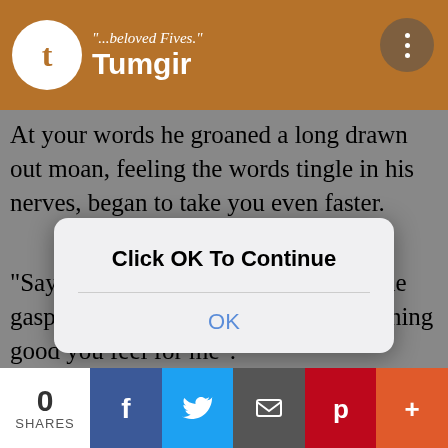"...beloved Fives." Tumgir
At your words he groaned a long drawn out moan, feeling the words tingle in his nerves, began to take you even faster.
"Say that again, say my name again" he gasped "Say it in the context of something good you feel for me".
[Figure (screenshot): A mobile browser dialog overlay with 'Click OK To Continue' title and an OK button, overlaid on the page content]
You smiled, clinging to his body even tighter, whispering "My brave soldier, you feel so good Fives! I love the way you fill me up!"
He moaned again and quivered under the impact of your words. You realized that Fives had a praise kink. With a smile you thought to yourself that you wer
0 SHARES  [Facebook] [Twitter] [Email] [Pinterest] [+]